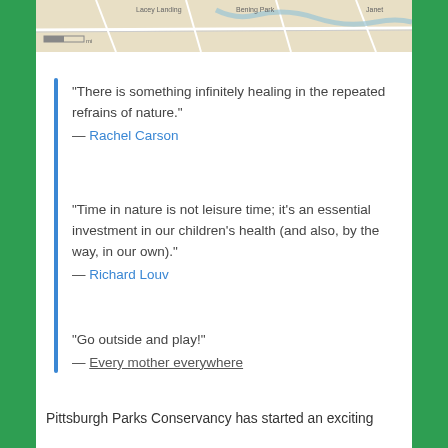[Figure (map): Partial map image visible at the top of the page, showing street/park map in beige and gray tones.]
“There is something infinitely healing in the repeated refrains of nature.”
— Rachel Carson
“Time in nature is not leisure time; it’s an essential investment in our children’s health (and also, by the way, in our own).”
— Richard Louv
“Go outside and play!”
— Every mother everywhere
Pittsburgh Parks Conservancy has started an exciting